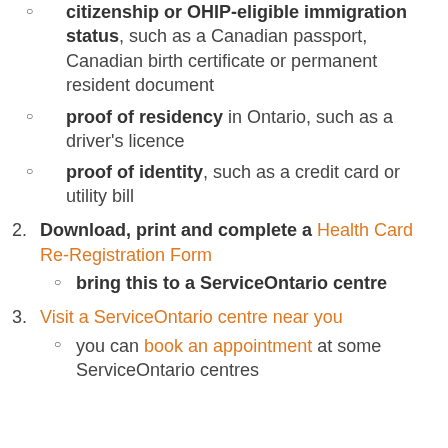citizenship or OHIP-eligible immigration status, such as a Canadian passport, Canadian birth certificate or permanent resident document
proof of residency in Ontario, such as a driver's licence
proof of identity, such as a credit card or utility bill
Download, print and complete a Health Card Re-Registration Form
bring this to a ServiceOntario centre
Visit a ServiceOntario centre near you
you can book an appointment at some ServiceOntario centres